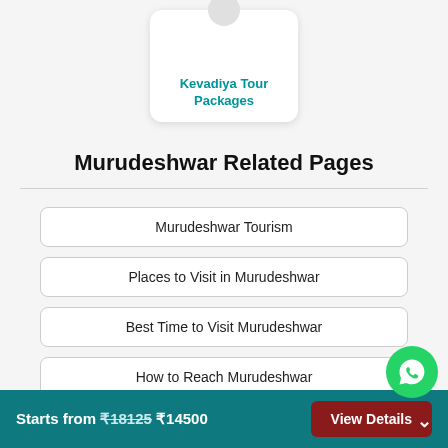[Figure (other): Card with rounded corners showing 'Kevadiya Tour Packages' link in teal color, partially visible at top of page]
Murudeshwar Related Pages
Murudeshwar Tourism
Places to Visit in Murudeshwar
Best Time to Visit Murudeshwar
How to Reach Murudeshwar
Starts from ₹18125 ₹14500  View Details